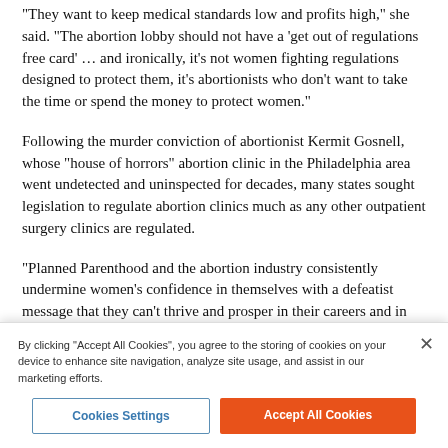“They want to keep medical standards low and profits high,” she said. “The abortion lobby should not have a ‘get out of regulations free card’ … and ironically, it’s not women fighting regulations designed to protect them, it’s abortionists who don’t want to take the time or spend the money to protect women.”
Following the murder conviction of abortionist Kermit Gosnell, whose “house of horrors” abortion clinic in the Philadelphia area went undetected and uninspected for decades, many states sought legislation to regulate abortion clinics much as any other outpatient surgery clinics are regulated.
“Planned Parenthood and the abortion industry consistently undermine women’s confidence in themselves with a defeatist message that they can’t thrive and prosper in their careers and in their family life,” Hawkins alerted others to the narrative of the
By clicking “Accept All Cookies”, you agree to the storing of cookies on your device to enhance site navigation, analyze site usage, and assist in our marketing efforts.
Cookies Settings
Accept All Cookies